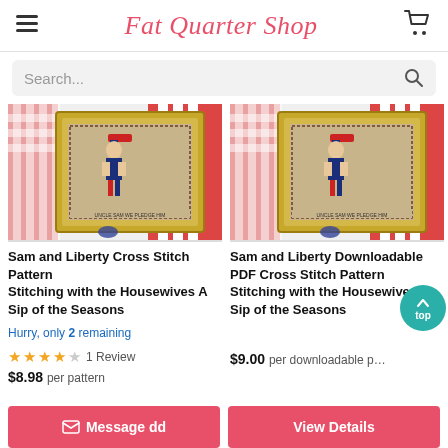Fat Quarter Shop
Search...
[Figure (photo): Cross stitch embroidery pattern showing Sam and Liberty patriotic figures in a decorative gold frame with red, white and blue accents]
Sam and Liberty Cross Stitch Pattern Stitching with the Housewives A Sip of the Seasons
Hurry, only 2 remaining
★★★★☆  1 Review
$8.98 per pattern
[Figure (photo): Cross stitch embroidery pattern showing Sam and Liberty patriotic figures in a decorative gold frame with red, white and blue accents, downloadable PDF version]
Sam and Liberty Downloadable PDF Cross Stitch Pattern Stitching with the Housewives A Sip of the Seasons
$9.00 per downloadable pattern